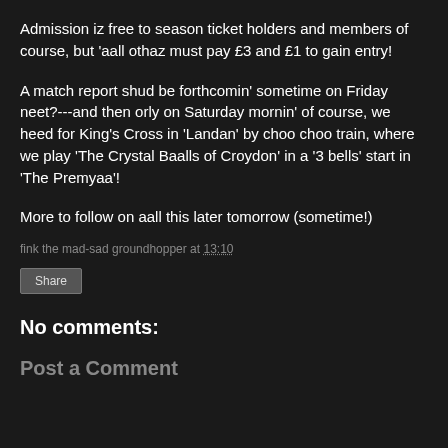Admission iz free to season ticket holders and members of course, but 'aall othaz must pay £3 and £1 to gain entry!
A match report shud be forthcomin' sometime on Friday neet?---and then orly on Saturday mornin' of course, we heed for King's Cross in 'Landan' by choo choo train, where we play 'The Crystal Baalls of Croydon' in a '3 bells' start in 'The Premyaa'!
More to follow on aall this later tomorrow (sometime!)
fink the mad-sad groundhopper at 13:10
Share
No comments:
Post a Comment